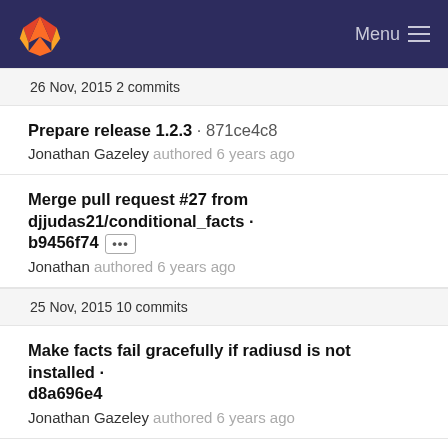GitLab — Menu
26 Nov, 2015 2 commits
Prepare release 1.2.3 · 871ce4c8
Jonathan Gazeley authored 6 years ago
Merge pull request #27 from djjudas21/conditional_facts · b9456f74 [...]
Jonathan authored 6 years ago
25 Nov, 2015 10 commits
Make facts fail gracefully if radiusd is not installed · d8a696e4
Jonathan Gazeley authored 6 years ago
Merge branch 'master' of github.com:djjudas21/puppet-freeradius · 0dc3a9a4
Jonathan Gazeley authored 6 years ago